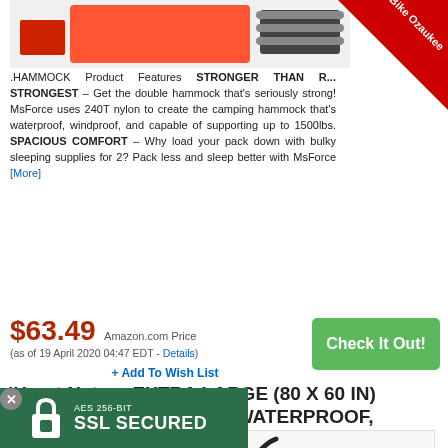[Figure (photo): Top product image - hammock/outdoor gear with orange and dark colors]
.HAMMOCK Product Features STRONGER THAN R... STRONGEST – Get the double hammock that's seriously strong! MsForce uses 240T nylon to create the camping hammock that's waterproof, windproof, and capable of supporting up to 1500lbs. SPACIOUS COMFORT – Why load your pack down with bulky sleeping supplies for 2? Pack less and sleep better with MsForce [More]
$63.49 Amazon.com Price (as of 19 April 2020 04:47 EDT - Details)
+ Add To Wish List
iHeart Nature EXTRA LARGE (80 X 60 IN) OUTDOOR PICNIC MAT | WATERPROOF,
[Figure (photo): iHeart Nature picnic mat rolled up showing orange exterior with iHeart Nature logo and floral pattern on inside]
[Figure (infographic): Bike Ozaukee ribbon banner in top right corner]
AES 256-BIT SSL SECURED